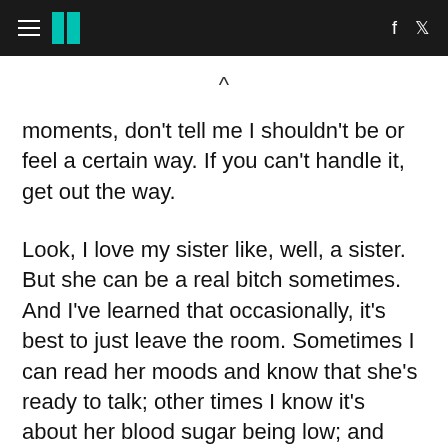HuffPost navigation header with hamburger menu, logo, Facebook and Twitter icons
moments, don't tell me I shouldn't be or feel a certain way. If you can't handle it, get out the way.
Look, I love my sister like, well, a sister. But she can be a real bitch sometimes. And I've learned that occasionally, it's best to just leave the room. Sometimes I can read her moods and know that she's ready to talk; other times I know it's about her blood sugar being low; and sometimes it's just a different type of mood -- the untouchable one. It's that one where no matter what I say or do, she's just going to be a bitch.